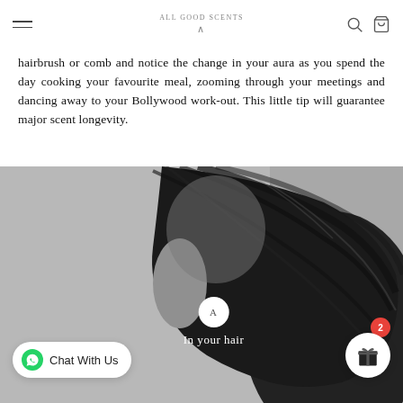ALL GOOD SCENTS
hairbrush or comb and notice the change in your aura as you spend the day cooking your favourite meal, zooming through your meetings and dancing away to your Bollywood work-out. This little tip will guarantee major scent longevity.
[Figure (photo): Black and white close-up photo of a person with dark, wet hair flowing, with a floating label button showing 'A' and text 'In your hair' overlaid on the image, plus a chat button and gift/rewards button with badge '2'.]